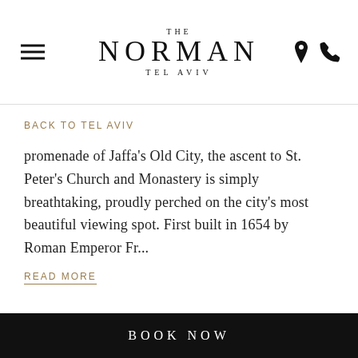THE NORMAN TEL AVIV
BACK TO TEL AVIV
promenade of Jaffa's Old City, the ascent to St. Peter's Church and Monastery is simply breathtaking, proudly perched on the city's most beautiful viewing spot. First built in 1654 by Roman Emperor Fr...
READ MORE
RUSSIAN ORTHODOX CHURCH OF TABITHA'S TOMB
Located on a hill surrounded by the city's botanical and
BOOK NOW